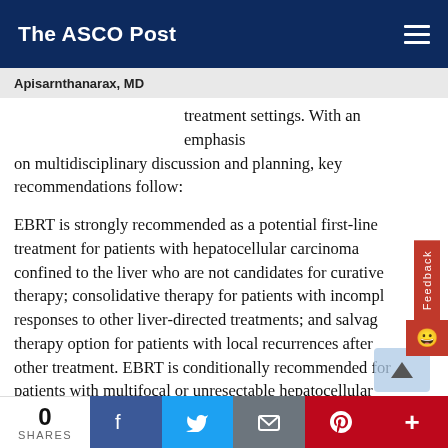The ASCO Post
Apisarnthanarax, MD
treatment settings. With an emphasis on multidisciplinary discussion and planning, key recommendations follow:
EBRT is strongly recommended as a potential first-line treatment for patients with hepatocellular carcinoma confined to the liver who are not candidates for curative therapy; consolidative therapy for patients with incomplete responses to other liver-directed treatments; and salvage therapy option for patients with local recurrences after other treatment. EBRT is conditionally recommended for patients with multifocal or unresectable hepatocellular carcinoma confined to the liver; and patients with macrovascular invasion, when sequenced with systemic or catheter-based therapies. The guideline includes treatment algorithms for the management of hepatocellular